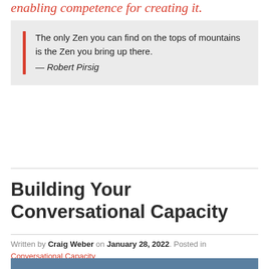enabling competence for creating it.
The only Zen you can find on the tops of mountains is the Zen you bring up there. — Robert Pirsig
CONTINUE READING
Building Your Conversational Capacity
Written by Craig Weber on January 28, 2022. Posted in Conversational Capacity
[Figure (photo): Blurred blue-grey background image related to the article]